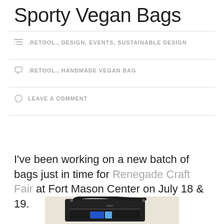Sporty Vegan Bags
.RETOOL., DESIGN, EVENTS, SUSTAINABLE DESIGN
.RETOOL., HANDMADE VEGAN BAG
LEAVE A COMMENT
I've been working on a new batch of bags just in time for Renegade Craft Fair at Fort Mason Center on July 18 & 19.
[Figure (photo): Black sporty crossbody bag with blue stripe accent and 'retool.' branding, photographed on a light background]